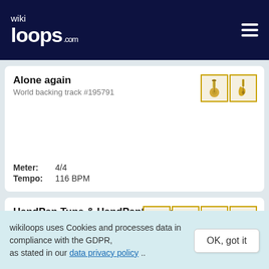wikiloops.com
Alone again
World backing track #195791
Meter: 4/4
Tempo: 116 BPM
HandPan Tune & HandPanSlapBass
World backing track #182388
wikiloops uses Cookies and processes data in compliance with the GDPR, as stated in our data privacy policy ..